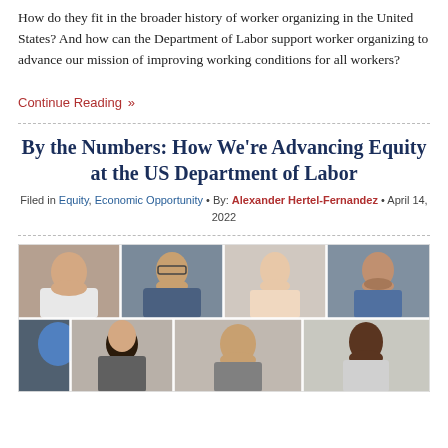How do they fit in the broader history of worker organizing in the United States? And how can the Department of Labor support worker organizing to advance our mission of improving working conditions for all workers?
Continue Reading »
By the Numbers: How We're Advancing Equity at the US Department of Labor
Filed in Equity, Economic Opportunity • By: Alexander Hertel-Fernandez • April 14, 2022
[Figure (photo): A grid of portrait photos showing diverse individuals in a video call or collage format, including men and women of various ethnicities.]